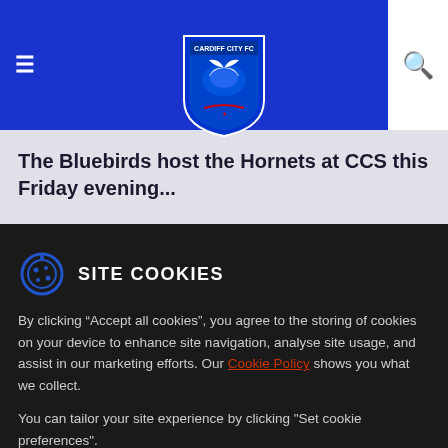Cardiff City FC navigation header with hamburger menu and search icon
[Figure (logo): Cardiff City FC crest/badge logo - blue and white shield with bird]
The Bluebirds host the Hornets at CCS this Friday evening...
SITE COOKIES
By clicking “Accept all cookies”, you agree to the storing of cookies on your device to enhance site navigation, analyse site usage, and assist in our marketing efforts. Our Cookie Policy shows you what we collect.
You can tailor your site experience by clicking "Set cookie preferences".
Accept all cookies